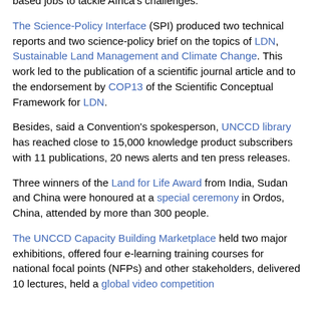based jobs to tackle Africa's challenges.
The Science-Policy Interface (SPI) produced two technical reports and two science-policy brief on the topics of LDN, Sustainable Land Management and Climate Change. This work led to the publication of a scientific journal article and to the endorsement by COP13 of the Scientific Conceptual Framework for LDN.
Besides, said a Convention's spokesperson, UNCCD library has reached close to 15,000 knowledge product subscribers with 11 publications, 20 news alerts and ten press releases.
Three winners of the Land for Life Award from India, Sudan and China were honoured at a special ceremony in Ordos, China, attended by more than 300 people.
The UNCCD Capacity Building Marketplace held two major exhibitions, offered four e-learning training courses for national focal points (NFPs) and other stakeholders, delivered 10 lectures, held a global video competition